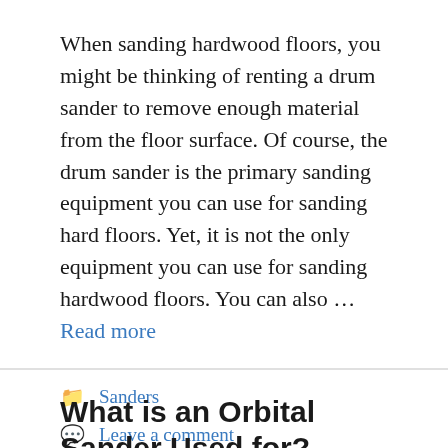When sanding hardwood floors, you might be thinking of renting a drum sander to remove enough material from the floor surface. Of course, the drum sander is the primary sanding equipment you can use for sanding hard floors. Yet, it is not the only equipment you can use for sanding hardwood floors. You can also … Read more
Sanders
Leave a comment
What is an Orbital Sander Used for?